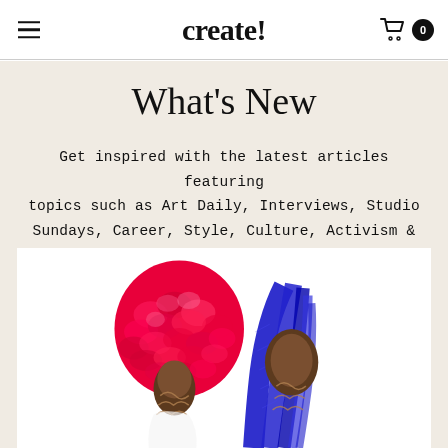create!
What's New
Get inspired with the latest articles featuring topics such as Art Daily, Interviews, Studio Sundays, Career, Style, Culture, Activism & Travel.
[Figure (photo): Two figures with elaborate artistic hair — one with a large red/pink sculptural afro made of layered scales or petals, the other with long flowing blue feathered or braided hair falling over their face. Both figures have decorative body paint with swirling patterns. White background.]